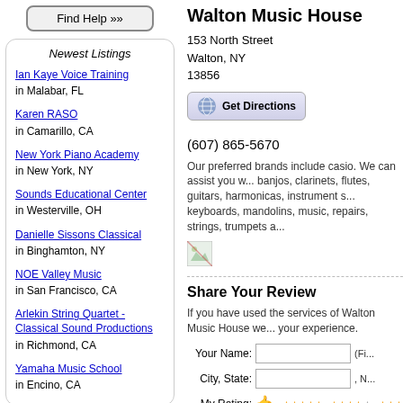[Figure (other): Find Help button with rounded rectangle border]
Newest Listings
Ian Kaye Voice Training in Malabar, FL
Karen RASO in Camarillo, CA
New York Piano Academy in New York, NY
Sounds Educational Center in Westerville, OH
Danielle Sissons Classical in Binghamton, NY
NOE Valley Music in San Francisco, CA
Arlekin String Quartet - Classical Sound Productions in Richmond, CA
Yamaha Music School in Encino, CA
Napua Ilima O'Kehaulani in Chula Vista, CA
Draisen-Edwards Music in Anderson, SC
Preston Carol in Damariscotta, ME
Acoustic & Electric Guitar in Santa
Walton Music House
153 North Street
Walton, NY
13856
[Figure (other): Get Directions button with globe icon]
(607) 865-5670
Our preferred brands include casio. We can assist you w... banjos, clarinets, flutes, guitars, harmonicas, instrument s... keyboards, mandolins, music, repairs, strings, trumpets a...
[Figure (photo): Small broken/placeholder image icon]
Share Your Review
If you have used the services of Walton Music House we... your experience.
Your Name: [input field] (Fi...
City, State: [input field] , N...
[Figure (other): My Rating row with thumbs icon and star rating radio buttons]